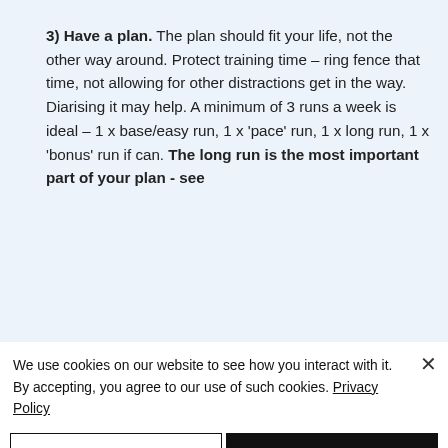3) Have a plan. The plan should fit your life, not the other way around. Protect training time – ring fence that time, not allowing for other distractions get in the way. Diarising it may help. A minimum of 3 runs a week is ideal – 1 x base/easy run, 1 x 'pace' run, 1 x long run, 1 x 'bonus' run if can. The long run is the most important part of your plan - see
We use cookies on our website to see how you interact with it. By accepting, you agree to our use of such cookies. Privacy Policy
Decline All
Accept
Settings